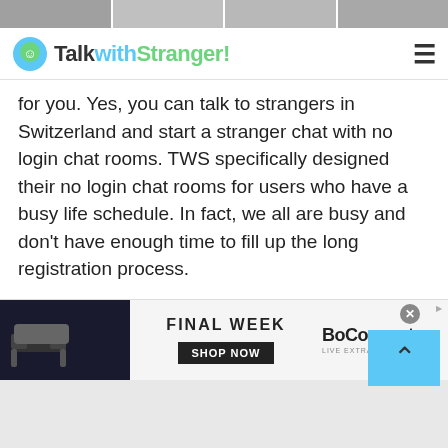[Figure (photo): Strip of profile photos at the top of the page]
TalkwithStranger!
for you. Yes, you can talk to strangers in Switzerland and start a stranger chat with no login chat rooms. TWS specifically designed their no login chat rooms for users who have a busy life schedule. In fact, we all are busy and don't have enough time to fill up the long registration process.
So, isn't it convenient to save a lot of your time and start talking to strangers in Switzerland via TWS without a second thought? Of course, yes. You can enjoy a free chat or join TWS no login chat rooms without wasting a minute.
[Figure (screenshot): Advertisement banner for BoConcept - Final Week sale]